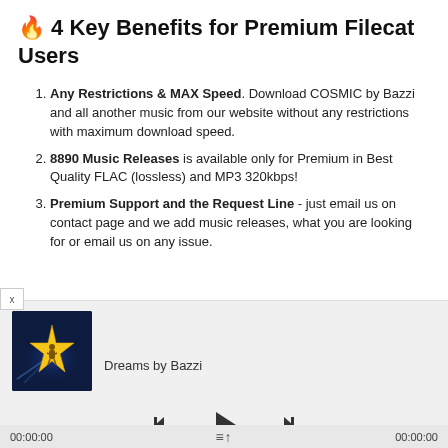🔥 4 Key Benefits for Premium Filecat Users
Any Restrictions & MAX Speed. Download COSMIC by Bazzi and all another music from our website without any restrictions with maximum download speed.
8890 Music Releases is available only for Premium in Best Quality FLAC (lossless) and MP3 320kbps!
Premium Support and the Request Line - just email us on contact page and we add music releases, what you are looking for or email us on any issue.
[Figure (screenshot): Music player UI showing album art (gold star on dark blue background) for 'Dreams by Bazzi', with playback controls (skip back, play, skip forward) and a time display showing 00:00:00 on both sides.]